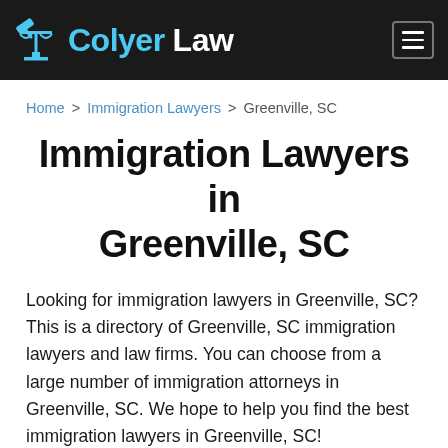ColyerLaw
Home > Immigration Lawyers > Greenville, SC
Immigration Lawyers in Greenville, SC
Looking for immigration lawyers in Greenville, SC? This is a directory of Greenville, SC immigration lawyers and law firms. You can choose from a large number of immigration attorneys in Greenville, SC. We hope to help you find the best immigration lawyers in Greenville, SC!